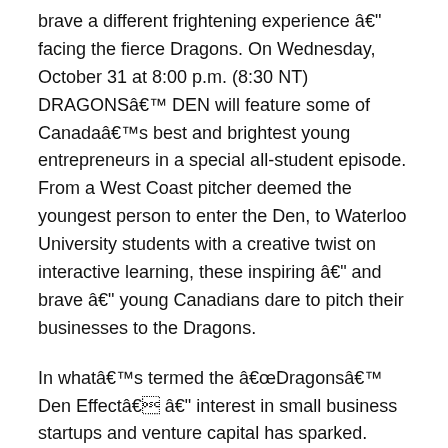brave a different frightening experience â€" facing the fierce Dragons. On Wednesday, October 31 at 8:00 p.m. (8:30 NT) DRAGONSâ€™ DEN will feature some of Canadaâ€™s best and brightest young entrepreneurs in a special all-student episode. From a West Coast pitcher deemed the youngest person to enter the Den, to Waterloo University students with a creative twist on interactive learning, these inspiring â€" and brave â€" young Canadians dare to pitch their businesses to the Dragons.
In whatâ€™s termed the â€œDragonsâ€™ Den Effectâ€ â€" interest in small business startups and venture capital has sparked. Business discussions are no longer limited to boardrooms as Canadians are now discussing inventions, valuations, and investment strategies around the water cooler after every episode. The motivated youth featured in